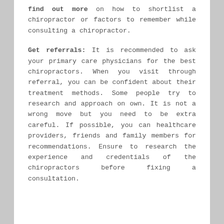find out more on how to shortlist a chiropractor or factors to remember while consulting a chiropractor.
Get referrals: It is recommended to ask your primary care physicians for the best chiropractors. When you visit through referral, you can be confident about their treatment methods. Some people try to research and approach on own. It is not a wrong move but you need to be extra careful. If possible, you can healthcare providers, friends and family members for recommendations. Ensure to research the experience and credentials of the chiropractors before fixing a consultation.